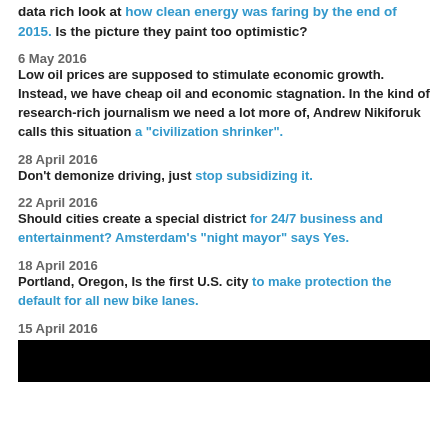data rich look at how clean energy was faring by the end of 2015. Is the picture they paint too optimistic?
6 May 2016
Low oil prices are supposed to stimulate economic growth. Instead, we have cheap oil and economic stagnation. In the kind of research-rich journalism we need a lot more of, Andrew Nikiforuk calls this situation a “civilization shrinker”.
28 April 2016
Don’t demonize driving, just stop subsidizing it.
22 April 2016
Should cities create a special district for 24/7 business and entertainment? Amsterdam’s “night mayor” says Yes.
18 April 2016
Portland, Oregon, Is the first U.S. city to make protection the default for all new bike lanes.
15 April 2016
[Figure (photo): Black image block at the bottom of the page]